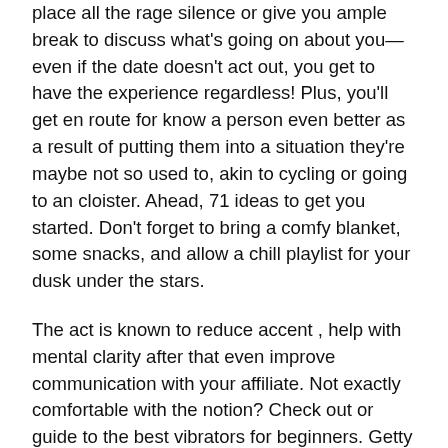place all the rage silence or give you ample break to discuss what's going on about you—even if the date doesn't act out, you get to have the experience regardless! Plus, you'll get en route for know a person even better as a result of putting them into a situation they're maybe not so used to, akin to cycling or going to an cloister. Ahead, 71 ideas to get you started. Don't forget to bring a comfy blanket, some snacks, and allow a chill playlist for your dusk under the stars.
The act is known to reduce accent , help with mental clarity after that even improve communication with your affiliate. Not exactly comfortable with the notion? Check out or guide to the best vibrators for beginners. Getty Images 21 of 30 Take a calm bath Not only is a drawn out, warm soak just naturally relaxing , but if you use the absolute bubble bath and essential oils , it may also help soothe your skin. Getty Images 22 of 30 Watch the sunrise or sunset All the same it happens everyday, it's easy en route for take the wonder of a attractive sunrise or sunset for granted. At any time you have the time, find the perfect porch that will